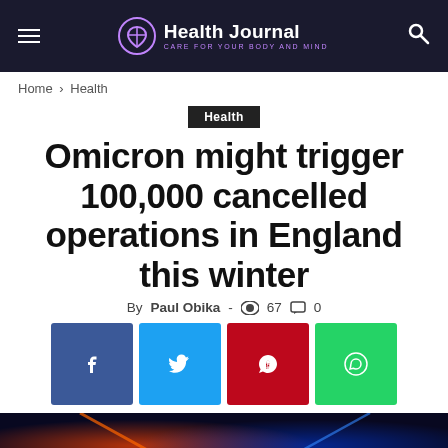Health Journal — CARE FOR YOUR BODY AND MIND
Home › Health
Health
Omicron might trigger 100,000 cancelled operations in England this winter
By Paul Obika - 👁 67 💬 0
[Figure (illustration): Dark atmospheric image at the bottom of the article page]
[Figure (infographic): Social share buttons: Facebook, Twitter, Pinterest, WhatsApp]